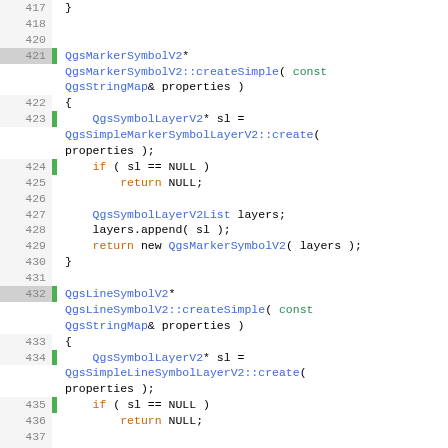[Figure (screenshot): Source code listing in C++ showing QgsMarkerSymbolV2, QgsLineSymbolV2, and QgsFillSymbolV2 createSimple functions, lines 417-443]